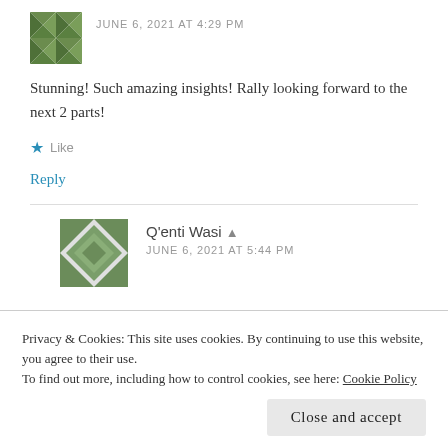JUNE 6, 2021 AT 4:29 PM
Stunning! Such amazing insights! Rally looking forward to the next 2 parts!
Like
Reply
Q'enti Wasi
JUNE 6, 2021 AT 5:44 PM
Privacy & Cookies: This site uses cookies. By continuing to use this website, you agree to their use.
To find out more, including how to control cookies, see here: Cookie Policy
Close and accept
apart.